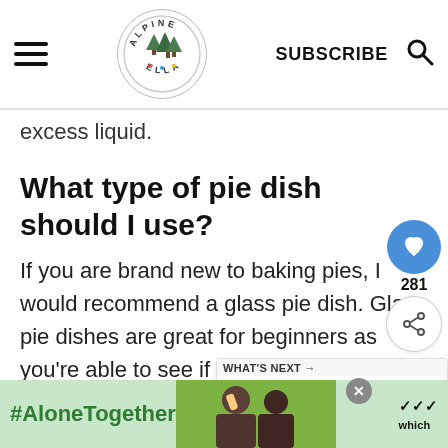Alpine Ella — SUBSCRIBE
excess liquid.
What type of pie dish should I use?
If you are brand new to baking pies, I would recommend a glass pie dish. Glas pie dishes are great for beginners as you're able to see if the bottom of it is fully cooked. If you've had some practice with pie baking, then I
[Figure (other): What's Next widget showing a thumbnail and title 'Chocolate Butterscotc...']
[Figure (other): Ad banner at bottom: #AloneTogether ad with photo and logo]